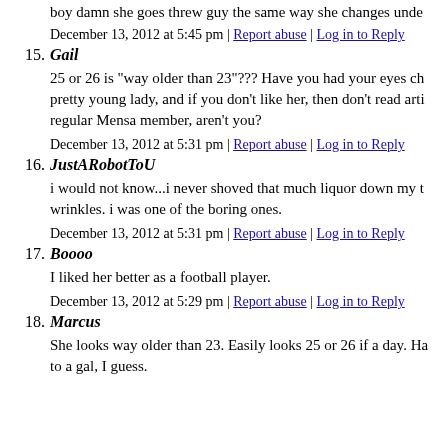boy damn she goes threw guy the same way she changes unde
December 13, 2012 at 5:45 pm | Report abuse | Log in to Reply
15. Gail
25 or 26 is "way older than 23"??? Have you had your eyes ch pretty young lady, and if you don't like her, then don't read arti regular Mensa member, aren't you?
December 13, 2012 at 5:31 pm | Report abuse | Log in to Reply
16. JustARobotToU
i would not know...i never shoved that much liquor down my t wrinkles. i was one of the boring ones.
December 13, 2012 at 5:31 pm | Report abuse | Log in to Reply
17. Boooo
I liked her better as a football player.
December 13, 2012 at 5:29 pm | Report abuse | Log in to Reply
18. Marcus
She looks way older than 23. Easily looks 25 or 26 if a day. Ha to a gal, I guess.